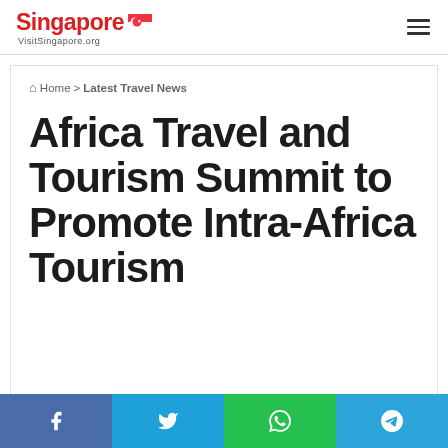Singapore VisitSingapore.org
Home > Latest Travel News
Africa Travel and Tourism Summit to Promote Intra-Africa Tourism
[Figure (infographic): Social media sharing bar with Facebook, Twitter, WhatsApp, and Telegram buttons]